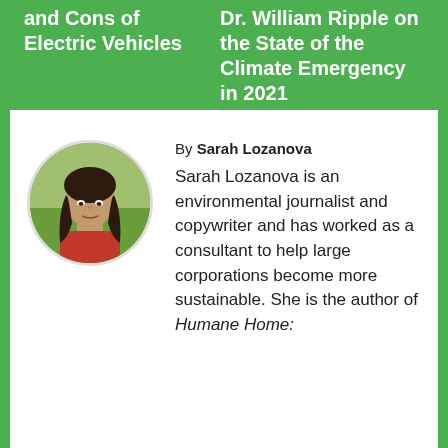and Cons of Electric Vehicles
Dr. William Ripple on the State of the Climate Emergency in 2021
By Sarah Lozanova
[Figure (photo): Circular portrait photo of Sarah Lozanova, a woman with long dark hair, wearing a red top, outdoors with a green field background.]
Sarah Lozanova is an environmental journalist and copywriter and has worked as a consultant to help large corporations become more sustainable. She is the author of Humane Home: